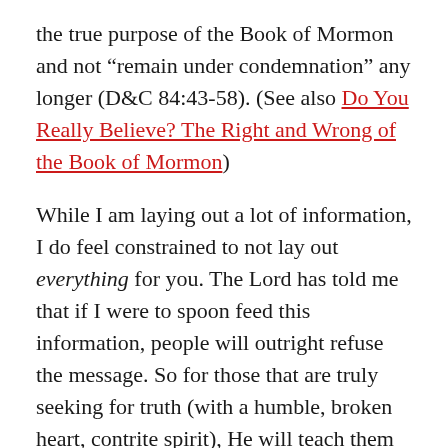the true purpose of the Book of Mormon and not “remain under condemnation” any longer (D&C 84:43-58). (See also Do You Really Believe? The Right and Wrong of the Book of Mormon)
While I am laying out a lot of information, I do feel constrained to not lay out everything for you. The Lord has told me that if I were to spoon feed this information, people will outright refuse the message. So for those that are truly seeking for truth (with a humble, broken heart, contrite spirit), He will teach them through His Spirit, line upon line and precept upon precept. Your greatest realizations will be your own self-